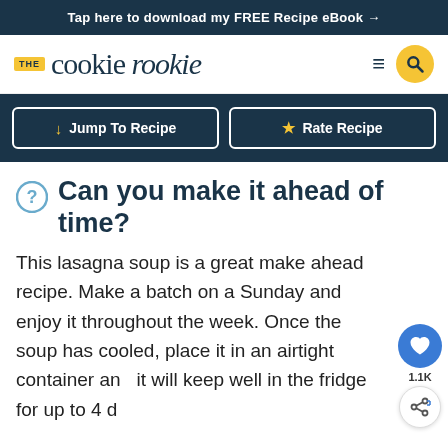Tap here to download my FREE Recipe eBook →
[Figure (logo): The Cookie Rookie logo with yellow THE badge, serif wordmark, hamburger menu icon, and yellow search circle button]
↓ Jump To Recipe
★ Rate Recipe
Can you make it ahead of time?
This lasagna soup is a great make ahead recipe. Make a batch on a Sunday and enjoy it throughout the week. Once the soup has cooled, place it in an airtight container and it will keep well in the fridge for up to 4 d…